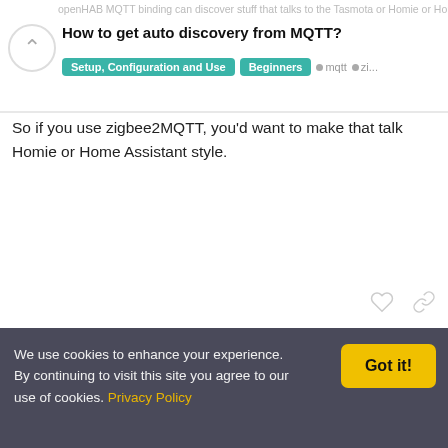openHAB MQTT binding can discover stuff that talks to the Tasmota or Homie or Home Assistant standards
How to get auto discovery from MQTT?
Setup, Configuration and Use   Beginners   mqtt   zi...
So if you use zigbee2MQTT, you'd want to make that talk Homie or Home Assistant style.
chrismast
chris
Jan 18
As rossko said, you need to activate the Home Assistant feature in your z2mqtt config. Have a look here 28 .
✔ Solution
djoone
Jan 18
We use cookies to enhance your experience. By continuing to visit this site you agree to our use of cookies. Privacy Policy